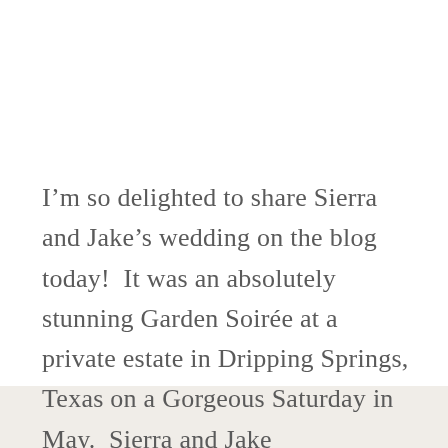I'm so delighted to share Sierra and Jake's wedding on the blog today!  It was an absolutely stunning Garden Soirée at a private estate in Dripping Springs, Texas on a Gorgeous Saturday in May.  Sierra and Jake were married under a stately oak…